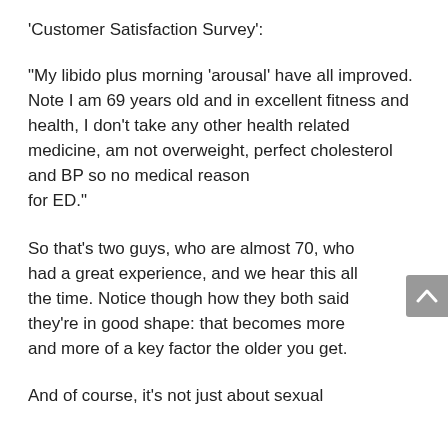'Customer Satisfaction Survey':
“My libido plus morning ‘arousal’ have all improved. Note I am 69 years old and in excellent fitness and health, I don’t take any other health related medicine, am not overweight, perfect cholesterol and BP so no medical reason for ED.”
So that’s two guys, who are almost 70, who had a great experience, and we hear this all the time. Notice though how they both said they’re in good shape: that becomes more and more of a key factor the older you get.
And of course, it’s not just about sexual performance